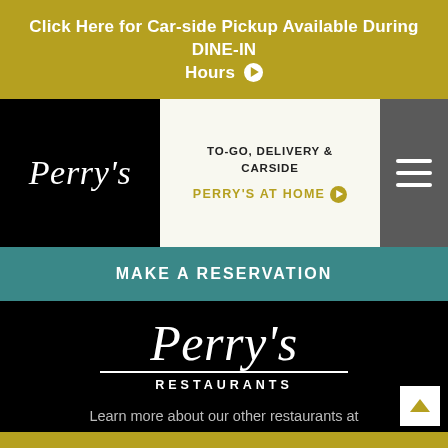Click Here for Car-side Pickup Available During DINE-IN Hours ▶
[Figure (logo): Perry's script logo in white on black background (nav)]
TO-GO, DELIVERY & CARSIDE
PERRY'S AT HOME ▶
[Figure (other): Hamburger menu icon (three white lines) on dark gray background]
MAKE A RESERVATION
[Figure (logo): Perry's Restaurants script logo with underline and RESTAURANTS text in white on black]
Learn more about our other restaurants at
PerrysRestaurants.com.